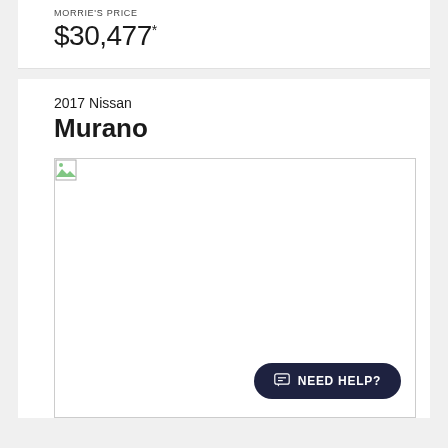MORRIE'S PRICE
$30,477*
2017 Nissan
Murano
[Figure (photo): Broken/unloaded image placeholder for a 2017 Nissan Murano vehicle photo]
NEED HELP?